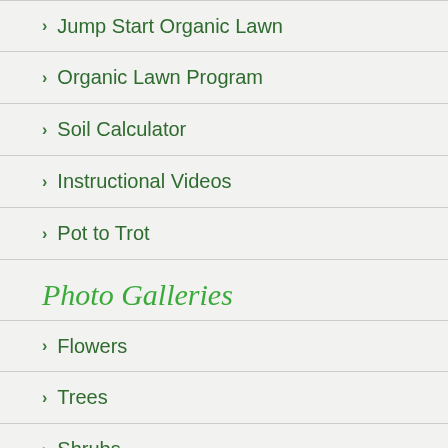Jump Start Organic Lawn
Organic Lawn Program
Soil Calculator
Instructional Videos
Pot to Trot
Photo Galleries
Flowers
Trees
Shrubs
Soil & Mulch